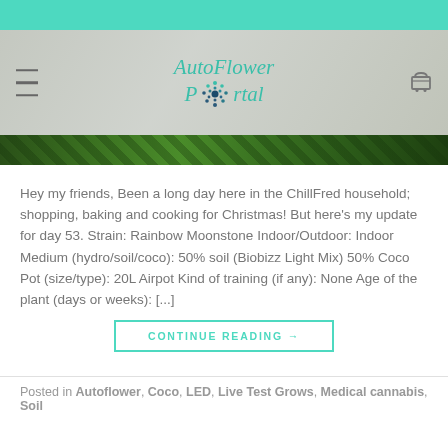[Figure (logo): AutoFlower Portal logo with teal text and dot-circle icon, hamburger menu icon on left, shopping cart icon on right, over a gray textured header background with plant photo strip below]
Hey my friends, Been a long day here in the ChillFred household; shopping, baking and cooking for Christmas! But here's my update for day 53. Strain: Rainbow Moonstone Indoor/Outdoor: Indoor Medium (hydro/soil/coco): 50% soil (Biobizz Light Mix) 50% Coco Pot (size/type): 20L Airpot Kind of training (if any): None Age of the plant (days or weeks): [...]
CONTINUE READING →
Posted in Autoflower, Coco, LED, Live Test Grows, Medical cannabis, Soil